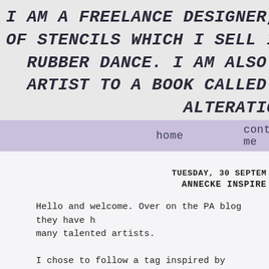I AM A FREELANCE DESIGNER, MIXED M OF STENCILS WHICH I SELL IN MY SHOP RUBBER DANCE. I AM ALSO REGULARL ARTIST TO A BOOK CALLED LEARNING ALTERATION A
home    contact me
TUESDAY, 30 SEPTEM ANNECKE INSPIRE
Hello and welcome. Over on the PA blog they have h many talented artists.
I chose to follow a tag inspired by Annecke de cl